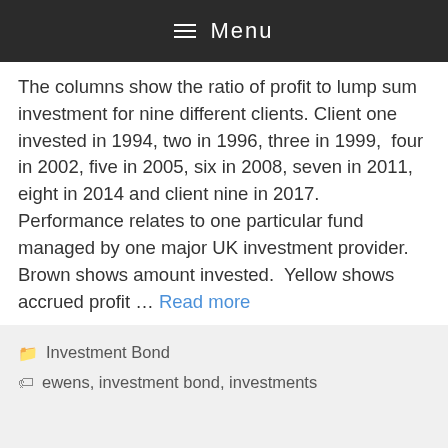Menu
The columns show the ratio of profit to lump sum investment for nine different clients. Client one invested in 1994, two in 1996, three in 1999, four in 2002, five in 2005, six in 2008, seven in 2011, eight in 2014 and client nine in 2017. Performance relates to one particular fund managed by one major UK investment provider. Brown shows amount invested. Yellow shows accrued profit ... Read more
Investment Bond
ewens, investment bond, investments